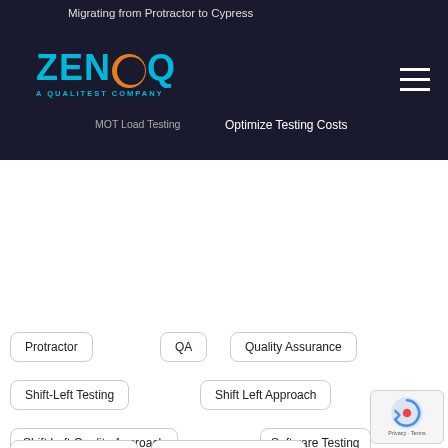Migrating from Protractor to Cypress
[Figure (logo): ZenQ - A Qualitest Company logo in teal/orange on dark background]
MOT Load Testing   Optimize Testing Costs
Protractor
QA
Quality Assurance
Shift-Left Testing
Shift Left Approach
Shift Left Quality Approach
Software Testing
Strategies to Manage Test Data
Test Automation
Test Automation Infra Tools
Test Automation Tools
test cases documenting
Test Consulting
Test Documentation
Test Execution Coverage
Testing
Testing Metaverse Applications